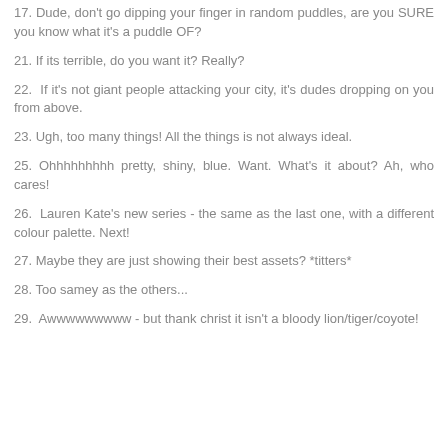17. Dude, don't go dipping your finger in random puddles, are you SURE you know what it's a puddle OF?
21. If its terrible, do you want it? Really?
22. If it's not giant people attacking your city, it's dudes dropping on you from above.
23. Ugh, too many things! All the things is not always ideal.
25. Ohhhhhhhhh pretty, shiny, blue. Want. What's it about? Ah, who cares!
26. Lauren Kate's new series - the same as the last one, with a different colour palette. Next!
27. Maybe they are just showing their best assets? *titters*
28. Too samey as the others...
29. Awwwwwwwww - but thank christ it isn't a bloody lion/tiger/coyote!